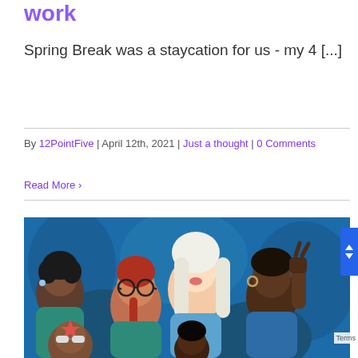work
Spring Break was a staycation for us - my 4 [...]
By 12PointFive | April 12th, 2021 | Just a thought | 0 Comments
Read More >
[Figure (illustration): Colorful flat illustration of a diverse group of women on a blue background. Women have different skin tones and hair colors; one wears glasses, one has a raised fist, one makes a peace sign.]